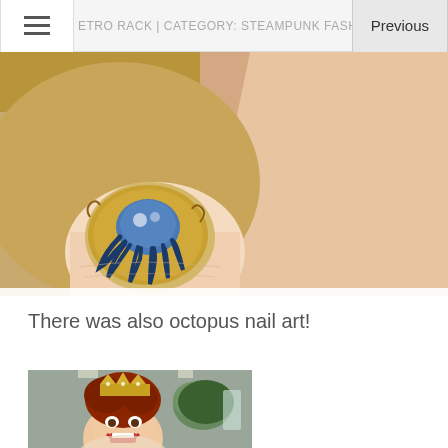ETRO RACK | CATEGORY: STEAMPUNK FASHION | (PAGE 8
[Figure (photo): Close-up photo of a fingernail painted with gold and blue octopus nail art design, on a tan/brown background]
There was also octopus nail art!
[Figure (photo): Photo of a woman with auburn hair wearing a gold crown/headpiece, smiling widely, in an indoor setting with plants visible in the background]